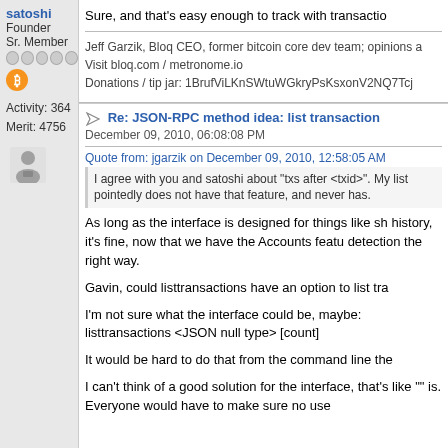Sure, and that's easy enough to track with transactio
Jeff Garzik, Bloq CEO, former bitcoin core dev team; opinions a
Visit bloq.com / metronome.io
Donations / tip jar: 1BrufViLKnSWtuWGkryPsKsxonV2NQ7Tcj
satoshi
Founder
Sr. Member
Activity: 364
Merit: 4756
Re: JSON-RPC method idea: list transaction
December 09, 2010, 06:08:08 PM
Quote from: jgarzik on December 09, 2010, 12:58:05 AM
I agree with you and satoshi about "txs after <txid>".  My list pointedly does not have that feature, and never has.
As long as the interface is designed for things like sh history, it's fine, now that we have the Accounts featu detection the right way.
Gavin, could listtransactions have an option to list tra
I'm not sure what the interface could be, maybe:
listtransactions <JSON null type> [count]
It would be hard to do that from the command line the
I can't think of a good solution for the interface, that's like "" is.  Everyone would have to make sure no use